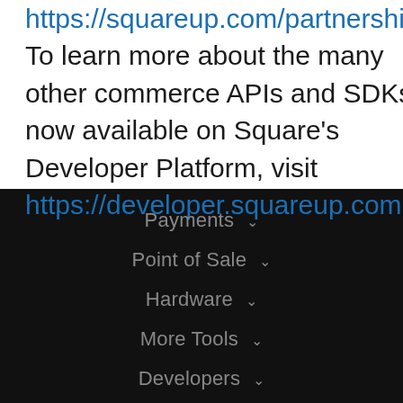https://squareup.com/partnerships. To learn more about the many other commerce APIs and SDKs now available on Square's Developer Platform, visit https://developer.squareup.com.
Payments
Point of Sale
Hardware
More Tools
Developers